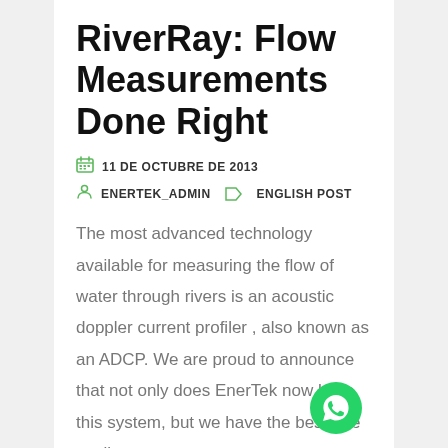RiverRay: Flow Measurements Done Right
11 DE OCTUBRE DE 2013
ENERTEK_ADMIN   ENGLISH POST
The most advanced technology available for measuring the flow of water through rivers is an acoustic doppler current profiler , also known as an ADCP. We are proud to announce that not only does EnerTek now have this system, but we have the best one availa…
[Figure (logo): WhatsApp floating action button (green circle with WhatsApp phone icon)]